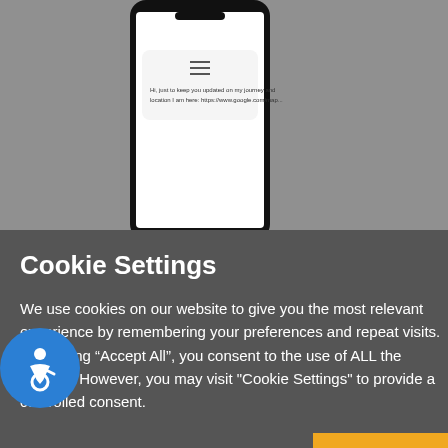[Figure (screenshot): Mobile phone screenshot showing a text message with Google Maps link: 'Hi, just to keep you updated on my journey and location I am here: https://www.google.com/map...']
Cookie Settings
We use cookies on our website to give you the most relevant experience by remembering your preferences and repeat visits. By clicking “Accept All”, you consent to the use of ALL the cookies. However, you may visit "Cookie Settings" to provide a controlled consent.
Cookie settings
ACCEPT ALL
Journey
ation sharing lets the user share their current location with a preferred contact. This can be done via SMS or an alternative message system/a...